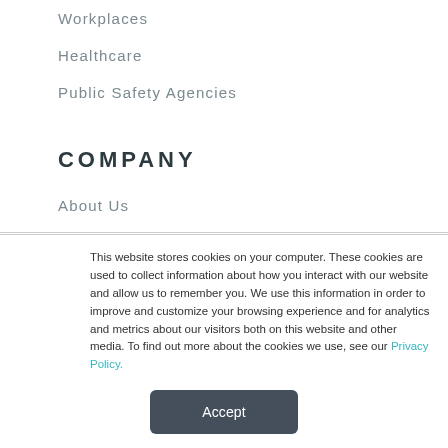Workplaces
Healthcare
Public Safety Agencies
COMPANY
About Us
This website stores cookies on your computer. These cookies are used to collect information about how you interact with our website and allow us to remember you. We use this information in order to improve and customize your browsing experience and for analytics and metrics about our visitors both on this website and other media. To find out more about the cookies we use, see our Privacy Policy.
Accept